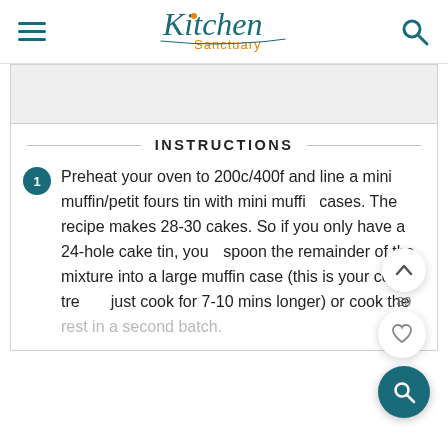Kitchen Sanctuary
INSTRUCTIONS
Preheat your oven to 200c/400f and line a mini muffin/petit fours tin with mini muffin cases. The recipe makes 28-30 cakes. So if you only have a 24-hole cake tin, you can spoon the remainder of the mixture into a large muffin case (this is your cooks treat - just cook for 7-10 mins longer) or cook the rest in a second batch.